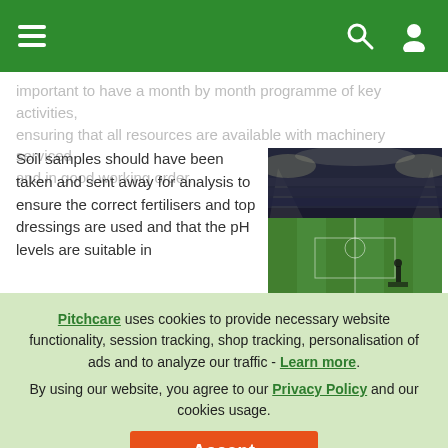Pitchcare website header with navigation menu, search, and user icons
important to have a month by month programme of key activities, ensuring that all resources are available with machinery serviced and in good working order.
Soil samples should have been taken and sent away for analysis to ensure the correct fertilisers and top dressings are used and that the pH levels are suitable in
[Figure (photo): Night-time stadium photo showing floodlit grass pitch with stands visible]
Pitchcare uses cookies to provide necessary website functionality, session tracking, shop tracking, personalisation of ads and to analyze our traffic - Learn more. By using our website, you agree to our Privacy Policy and our cookies usage.